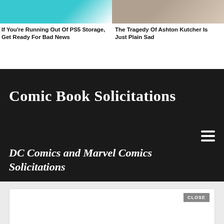[Figure (photo): Thumbnail image related to PS5 storage article, teal/cyan background with device]
[Figure (photo): Thumbnail photo of Ashton Kutcher, man smiling]
If You're Running Out Of PS5 Storage, Get Ready For Bad News
The Tragedy Of Ashton Kutcher Is Just Plain Sad
Comic Book Solicitations
DC Comics and Marvel Comics Solicitations